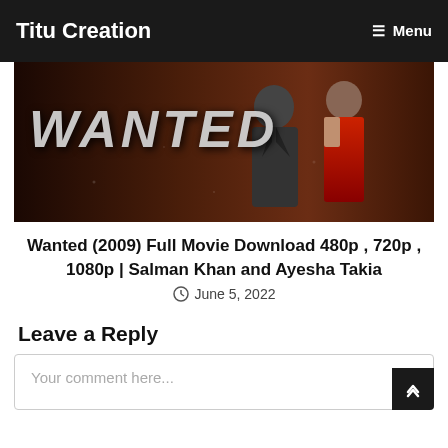Titu Creation   ☰ Menu
[Figure (photo): Movie banner for Wanted (2009) showing the title 'WANTED' in large stylized letters with a man in black jacket and a woman in a red dress in a dark atmospheric background]
Wanted (2009) Full Movie Download 480p , 720p , 1080p | Salman Khan and Ayesha Takia
June 5, 2022
Leave a Reply
Your comment here...